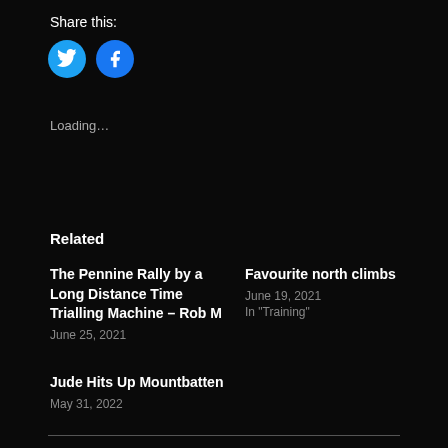Share this:
[Figure (infographic): Two circular social sharing buttons: Twitter (blue with bird icon) and Facebook (blue with f icon)]
Loading...
Related
The Pennine Rally by a Long Distance Time Trialling Machine – Rob M
June 25, 2021
Favourite north climbs
June 19, 2021
In "Training"
Jude Hits Up Mountbatten
May 31, 2022